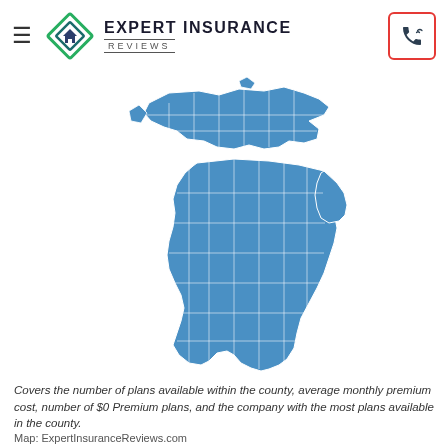EXPERT INSURANCE REVIEWS
[Figure (map): Blue choropleth map of the state of Michigan showing county boundaries, with all counties filled in blue representing insurance plan availability data.]
Covers the number of plans available within the county, average monthly premium cost, number of $0 Premium plans, and the company with the most plans available in the county.
Map: ExpertInsuranceReviews.com